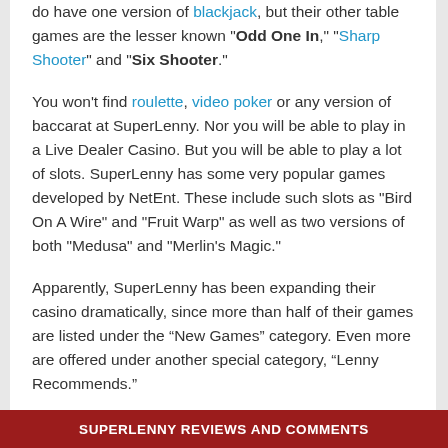do have one version of blackjack, but their other table games are the lesser known "Odd One In," "Sharp Shooter" and "Six Shooter."
You won't find roulette, video poker or any version of baccarat at SuperLenny. Nor you will be able to play in a Live Dealer Casino. But you will be able to play a lot of slots. SuperLenny has some very popular games developed by NetEnt. These include such slots as "Bird On A Wire" and "Fruit Warp" as well as two versions of both "Medusa" and "Merlin's Magic."
Apparently, SuperLenny has been expanding their casino dramatically, since more than half of their games are listed under the “New Games” category. Even more are offered under another special category, “Lenny Recommends.”
SUPERLENNY REVIEWS AND COMMENTS